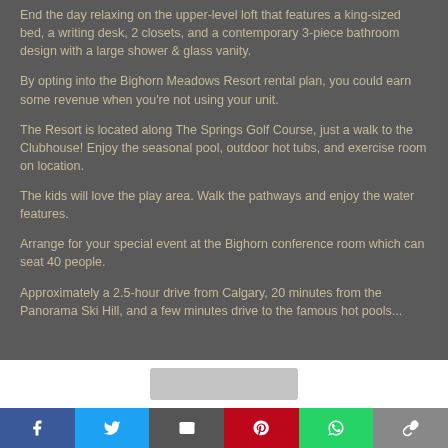End the day relaxing on the upper-level loft that features a king-sized bed, a writing desk, 2 closets, and a contemporary 3-piece bathroom design with a large shower & glass vanity.
By opting into the Bighorn Meadows Resort rental plan, you could earn some revenue when you're not using your unit.
The Resort is located along The Springs Golf Course, just a walk to the Clubhouse! Enjoy the seasonal pool, outdoor hot tubs, and exercise room on location.
The kids will love the play area. Walk the pathways and enjoy the water features.
Arrange for your special event at the Bighorn conference room which can seat 40 people.
Approximately a 2.5-hour drive from Calgary, 20 minutes from the Panorama Ski Hill, and a few minutes drive to the famous hot pools...